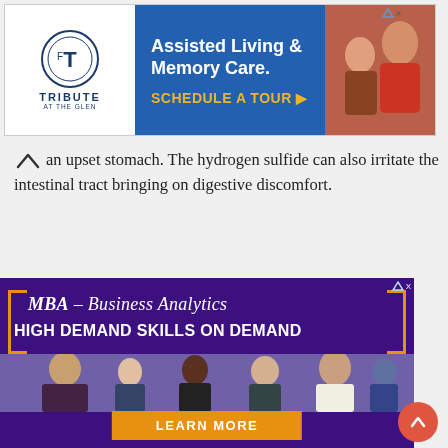[Figure (illustration): Tribute at the Glen advertisement banner for Assisted Living & Memory Care with logo on left, blue center with text 'Assisted Living & Memory Care. SCHEDULE A TOUR' and photo of elderly person on right]
an upset stomach. The hydrogen sulfide can also irritate the intestinal tract bringing on digestive discomfort.
[Figure (illustration): High Point University MBA Business Analytics advertisement on purple background with photo of business networking event, text 'MBA – Business Analytics HIGH DEMAND SKILLS ON DEMAND', orange LEARN MORE button, and 'HIGH POINT UNIVERSITY' text at bottom]